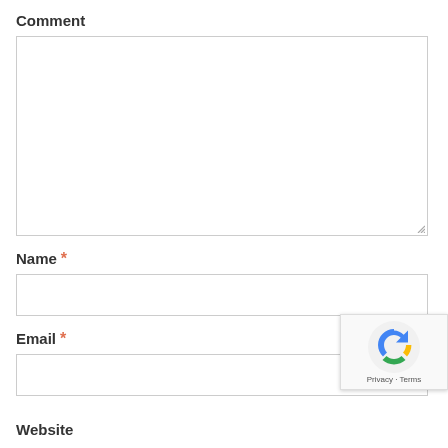Comment
[Figure (screenshot): Empty comment textarea input field with resize handle]
Name *
[Figure (screenshot): Empty single-line text input for Name]
Email *
[Figure (screenshot): Empty single-line text input for Email]
[Figure (screenshot): reCAPTCHA badge with Privacy and Terms links]
Website